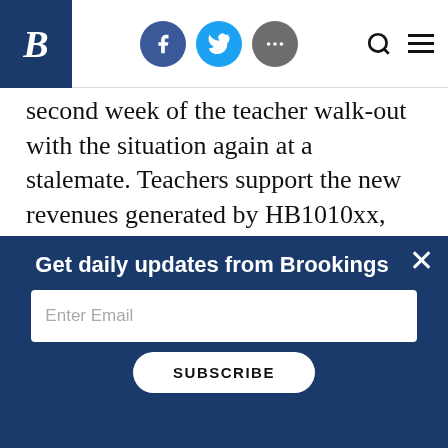Brookings website header with logo, Facebook, Twitter, share icons, search and menu
second week of the teacher walk-out with the situation again at a stalemate. Teachers support the new revenues generated by HB1010xx, but are rightfully concerned that they are insufficient to meet the promises made in HB1023xx. Educators have indicated that the walkout will continue until the legislature takes action to fully fund HB1023xx. After all, who knows how long it will be until
Get daily updates from Brookings
Enter Email
SUBSCRIBE